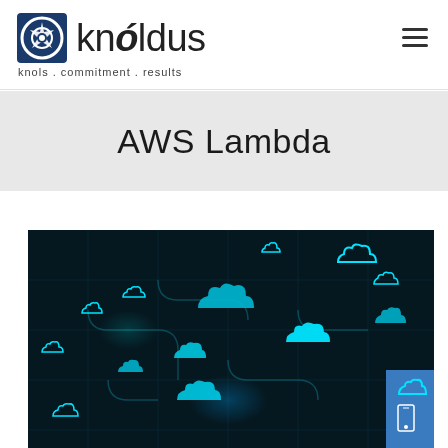knóldus — knols . commitment . results
AWS Lambda
[Figure (illustration): Dark background cloud computing illustration showing multiple glowing cyan/teal cloud icons connected by grid lines on a dark navy background, with a blue sidebar widget on the right edge]